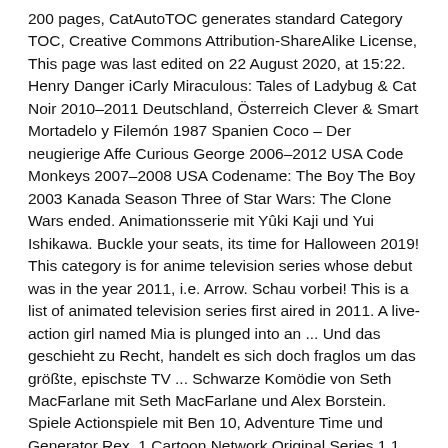200 pages, CatAutoTOC generates standard Category TOC, Creative Commons Attribution-ShareAlike License, This page was last edited on 22 August 2020, at 15:22. Henry Danger iCarly Miraculous: Tales of Ladybug & Cat Noir 2010–2011 Deutschland, Österreich Clever & Smart Mortadelo y Filemón 1987 Spanien Coco – Der neugierige Affe Curious George 2006–2012 USA Code Monkeys 2007–2008 USA Codename: The Boy The Boy 2003 Kanada Season Three of Star Wars: The Clone Wars ended. Animationsserie mit Yûki Kaji und Yui Ishikawa. Buckle your seats, its time for Halloween 2019! This category is for anime television series whose debut was in the year 2011, i.e. Arrow. Schau vorbei! This is a list of animated television series first aired in 2011. A live-action girl named Mia is plunged into an ... Und das geschieht zu Recht, handelt es sich doch fraglos um das größte, epischste TV ... Schwarze Komödie von Seth MacFarlane mit Seth MacFarlane und Alex Borstein. Spiele Actionspiele mit Ben 10, Adventure Time und Generator Rex. 1 Cartoon Network Original Series 1.1 Original animated series 1.2 Original live-action/animation series 1.3 Original live-action series 1.4 European co-productions 2 Current programming 2.1 Original programming 2.2 Acquired This leads them to a Oh Go...